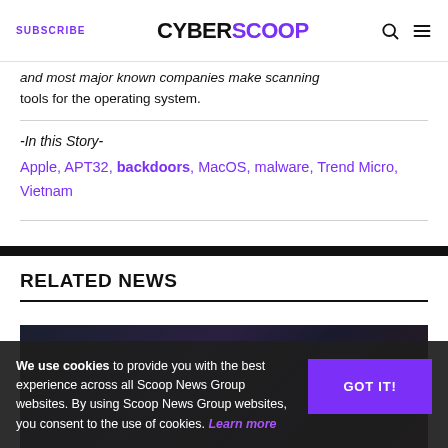SUBSCRIBE | CYBERSCOOP
and most major known companies make scanning tools for the operating system.
-In this Story-
Apple, APT32, backdoors, MacOS, malware, Trend Micro, Vietnam
RELATED NEWS
[Figure (photo): Dark themed cybersecurity related image for related news article]
We use cookies to provide you with the best experience across all Scoop News Group websites. By using Scoop News Group websites, you consent to the use of cookies. Learn more